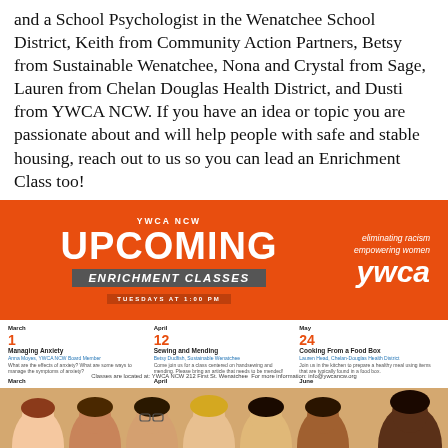and a School Psychologist in the Wenatchee School District, Keith from Community Action Partners, Betsy from Sustainable Wenatchee, Nona and Crystal from Sage, Lauren from Chelan Douglas Health District, and Dusti from YWCA NCW. If you have an idea or topic you are passionate about and will help people with safe and stable housing, reach out to us so you can lead an Enrichment Class too!
[Figure (infographic): YWCA NCW Upcoming Enrichment Classes banner - orange background with YWCA logo and tagline 'eliminating racism empowering women ywca', subtitle 'ENRICHMENT CLASSES', 'TUESDAYS AT 1:00 PM']
| Month | Day | Class | Presenter | Description |
| --- | --- | --- | --- | --- |
| March | 1 | Managing Anxiety | Anna Moyes, YWCA NCW Board Member | What are the effects of anxiety? What are some ways to manage the symptoms of anxiety? |
| March | 15 | Building Your Financial Future | Keith Madsen, Community Action | To build your financial future, it takes believing in yourself, taking advantage of educational opportunities, getting support, and developing financial assets. |
| March | 29 | Wise Use of Credit Cards | Keith Madsen, Community Action | The focus is on destroying credit by using one credit card but paying it off each month. |
| April | 12 | Sewing and Mending | Betsy Dudfish, Sustainable Wenatchee | Come join us for a class centered on handsewing and mending. Please bring an article that needs to be mended! |
| April | 26 | Developing and Managing Your Personal Budget | Keith Madsen, Community Action | Develop a realistic budget that you stick to in order to pay off debt and develop your financial assets. |
| May | 10 | Healthy Relationships | Nona Reed, Sage | Nona Reed, from Sage, will be sharing the recipe for a healthy relationship! |
| May | 24 | Cooking From a Food Box | Lauren Head, Chelan-Douglas Health District | Join us in the kitchen to prepare a healthy meal using items that are typically found in a food box. |
| June | 7 | Rent Smart - part 1 | Dusti Mahoney, YWCA NCW | This class is for the women! Talk more about finding a rental and applying for a rental. |
| June | 21 | Rent Smart - part 2 | Dusti Mahoney, YWCA NCW | A continuation of Rent Smart part 2, this class is about renters rights and responsibilities and landlords right and responsibilities. |
Classes are located at: YWCA NCW 212 First St. Wenatchee For more information: info@ywcancw.org
[Figure (photo): Photo strip of diverse smiling women at the bottom of the page]